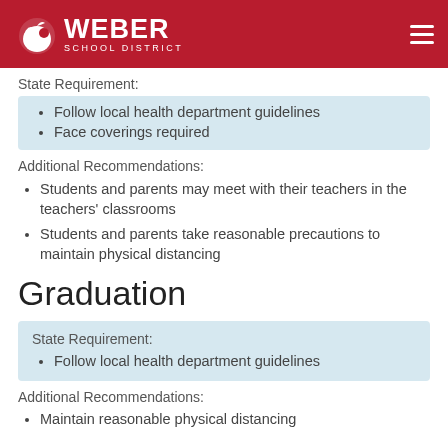Weber School District
State Requirement:
Follow local health department guidelines
Face coverings required
Additional Recommendations:
Students and parents may meet with their teachers in the teachers' classrooms
Students and parents take reasonable precautions to maintain physical distancing
Graduation
State Requirement:
Follow local health department guidelines
Additional Recommendations:
Maintain reasonable physical distancing